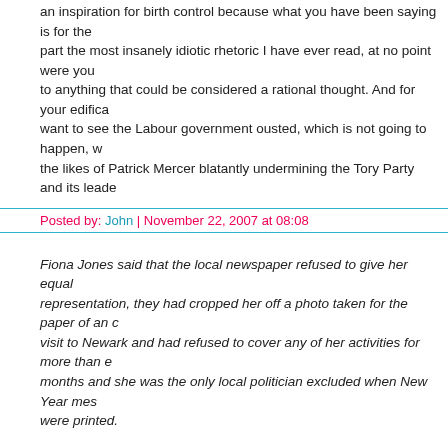an inspiration for birth control because what you have been saying is for the part the most insanely idiotic rhetoric I have ever read, at no point were you to anything that could be considered a rational thought. And for your edifica want to see the Labour government ousted, which is not going to happen, w the likes of Patrick Mercer blatantly undermining the Tory Party and its leade
Posted by: John | November 22, 2007 at 08:08
Fiona Jones said that the local newspaper refused to give her equal representation, they had cropped her off a photo taken for the paper of an c visit to Newark and had refused to cover any of her activities for more than e months and she was the only local politician excluded when New Year mes were printed.
And the judgment of the Press Complaints Commission was..?
Posted by: Traditional Tory | November 22, 2007 at 08:21
Trad Tory.....and the judgement of the press complaints commission was..... action can only be taken against what is written, not on what is not written.
Posted by: seasider | November 22, 2007 at 09:27